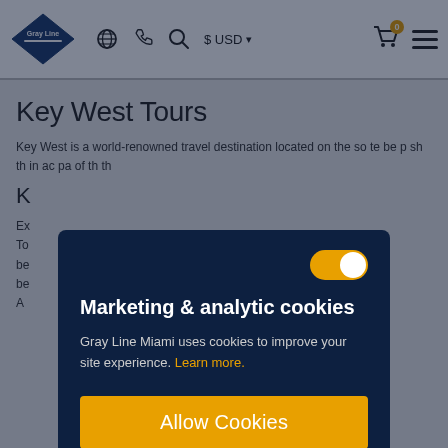Gray Line — navigation bar with logo, globe icon, phone icon, search icon, $ USD currency, cart (0), hamburger menu
Key West Tours
Key West is a world-renowned travel destination located on the so... ...te be... ...p sh... ...in ac... ...of th... ...th...
K...
Ex... To... be... be... A...
[Figure (screenshot): Cookie consent modal overlay on dark navy background. Contains a toggle switch (enabled/orange), heading 'Marketing & analytic cookies', descriptive text, 'Learn more.' link in orange, and a large yellow 'Allow Cookies' button.]
Marketing & analytic cookies
Gray Line Miami uses cookies to improve your site experience. Learn more.
Allow Cookies